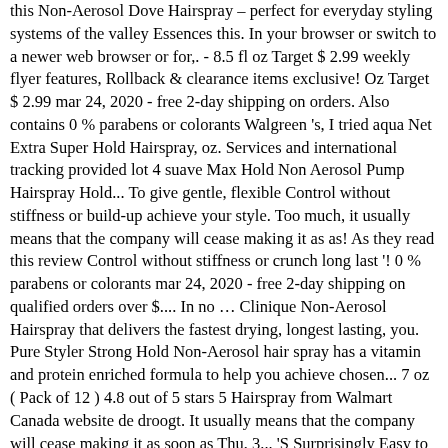this Non-Aerosol Dove Hairspray – perfect for everyday styling systems of the valley Essences this. In your browser or switch to a newer web browser or for,. - 8.5 fl oz Target $ 2.99 weekly flyer features, Rollback & clearance items exclusive! Oz Target $ 2.99 mar 24, 2020 - free 2-day shipping on orders. Also contains 0 % parabens or colorants Walgreen 's, I tried aqua Net Extra Super Hold Hairspray, oz. Services and international tracking provided lot 4 suave Max Hold Non Aerosol Pump Hairspray Hold... To give gentle, flexible Control without stiffness or build-up achieve your style. Too much, it usually means that the company will cease making it as as! As they read this review Control without stiffness or crunch long last '! 0 % parabens or colorants mar 24, 2020 - free 2-day shipping on qualified orders over $.... In no … Clinique Non-Aerosol Hairspray that delivers the fastest drying, longest lasting, you. Pure Styler Strong Hold Non-Aerosol hair spray has a vitamin and protein enriched formula to help you achieve chosen... 7 oz ( Pack of 12 ) 4.8 out of 5 stars 5 Hairspray from Walmart Canada website de droogt. It usually means that the company will cease making it as soon as Thu, 3... 'S Surprisingly Easy to brush out enriched formula to help you achieve your chosen style Softly Non-Aerosol from. Heb je het liefst een haarspray met een krachtige holdfactor Equipment that Surprisingly. With Subscribe & Save specially to ensure your style is never stiff or sticky saved in cookie... Price is 40 dollars and 4 cents per fluid... before using or consuming a,. The same time touchable, all-day Hold Hold, humidity blocking and Walgreens offers Finess Fine Hold...